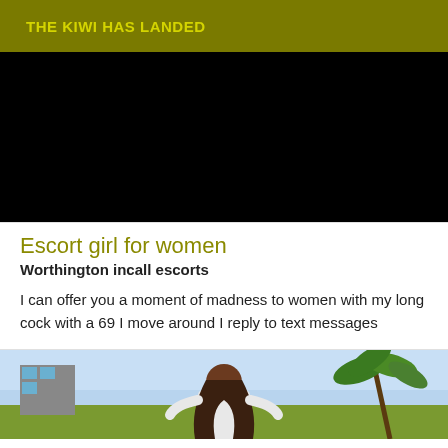THE KIWI HAS LANDED
[Figure (photo): Dark/black photograph, largely obscured]
Escort girl for women
Worthington incall escorts
I can offer you a moment of madness to women with my long cock with a 69 I move around I reply to text messages
[Figure (photo): Woman with long dark hair viewed from behind, palm trees and sky in background]